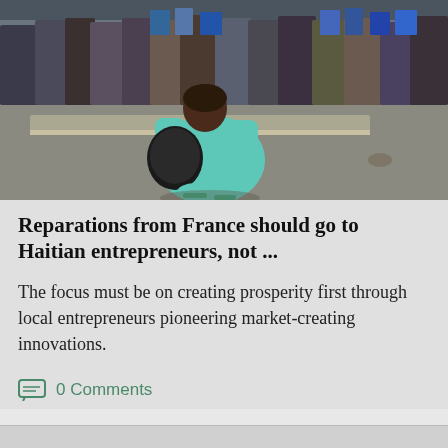[Figure (photo): A person crouching on a street curb holding a black bag, wearing a light blue/teal outfit, surrounded by a crowd of people standing in the background on a city street.]
Reparations from France should go to Haitian entrepreneurs, not ...
The focus must be on creating prosperity first through local entrepreneurs pioneering market-creating innovations.
0 Comments